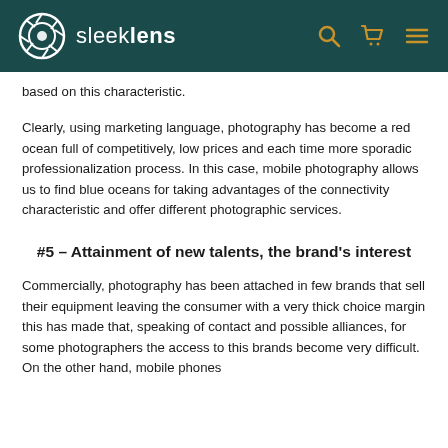sleeklens
based on this characteristic.
Clearly, using marketing language, photography has become a red ocean full of competitively, low prices and each time more sporadic professionalization process. In this case, mobile photography allows us to find blue oceans for taking advantages of the connectivity characteristic and offer different photographic services.
#5 – Attainment of new talents, the brand's interest
Commercially, photography has been attached in few brands that sell their equipment leaving the consumer with a very thick choice margin this has made that, speaking of contact and possible alliances, for some photographers the access to this brands become very difficult. On the other hand, mobile phones